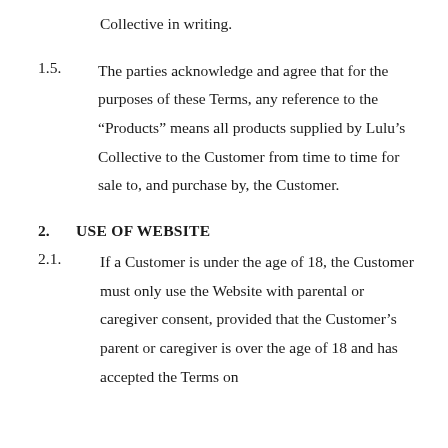Collective in writing.
1.5.  The parties acknowledge and agree that for the purposes of these Terms, any reference to the “Products” means all products supplied by Lulu’s Collective to the Customer from time to time for sale to, and purchase by, the Customer.
2.  USE OF WEBSITE
2.1.  If a Customer is under the age of 18, the Customer must only use the Website with parental or caregiver consent, provided that the Customer’s parent or caregiver is over the age of 18 and has accepted the Terms on